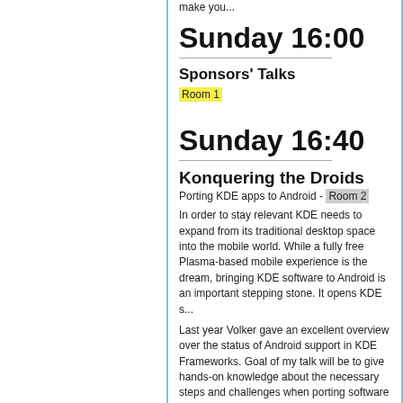make you...
Sunday 16:00
Sponsors' Talks
Room 1
Sunday 16:40
Konquering the Droids
Porting KDE apps to Android - Room 2
In order to stay relevant KDE needs to expand from its traditional desktop space into the mobile world. While a fully free Plasma-based mobile experience is the dream, bringing KDE software to Android is an important stepping stone. It opens KDE s...
Last year Volker gave an excellent overview over the status of Android support in KDE Frameworks. Goal of my talk will be to give hands-on knowledge about the necessary steps and challenges when porting software to Android as well as to motivate people in doing so. Furthermore I want to raise the